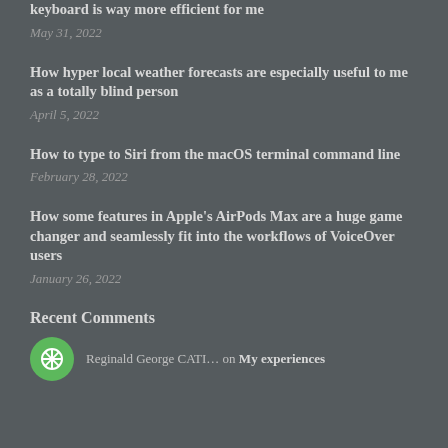keyboard is way more efficient for me
May 31, 2022
How hyper local weather forecasts are especially useful to me as a totally blind person
April 5, 2022
How to type to Siri from the macOS terminal command line
February 28, 2022
How some features in Apple’s AirPods Max are a huge game changer and seamlessly fit into the workflows of VoiceOver users
January 26, 2022
Recent Comments
Reginald George CATI… on My experiences